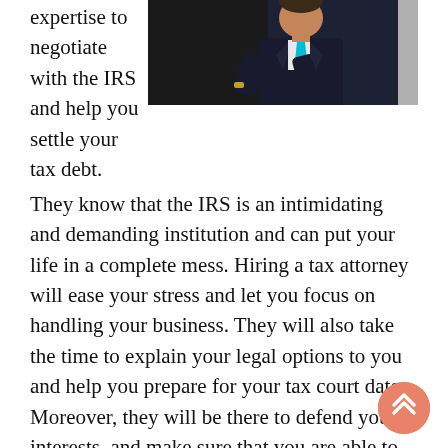expertise to negotiate with the IRS and help you settle your tax debt.
[Figure (photo): Professional man in dark suit with teal tie, arms crossed, professional headshot/portrait photo against a dark background]
They know that the IRS is an intimidating and demanding institution and can put your life in a complete mess. Hiring a tax attorney will ease your stress and let you focus on handling your business. They will also take the time to explain your legal options to you and help you prepare for your tax court date. Moreover, they will be there to defend your interests, and make sure that you are able to meet your deadline.

The criminal investigation division of the IRS is charged with uncovering tax crimes. They investigate
[Figure (other): Scroll-to-top button: circular peach/salmon colored button with upward double chevron arrows]